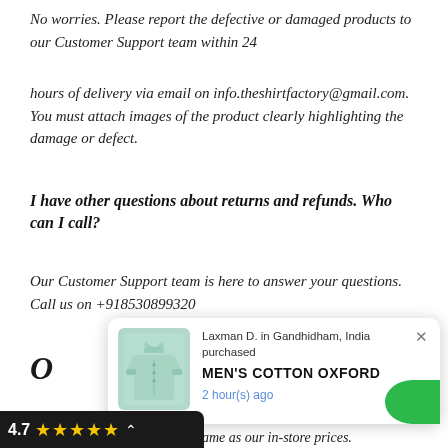No worries. Please report the defective or damaged products to our Customer Support team within 24
hours of delivery via email on info.theshirtfactory@gmail.com. You must attach images of the product clearly highlighting the damage or defect.
I have other questions about returns and refunds. Who can I call?
Our Customer Support team is here to answer your questions. Call us on +918530899320
[Figure (screenshot): Popup notification showing shirt purchase: Laxman D. in Gandhidham, India purchased MEN'S COTTON OXFORD, 2 hour(s) ago. Includes shirt image and green curved button.]
[Figure (other): Rating bar showing 4.7 with 5 gold stars and a chevron, on dark background]
Our online prices are usually the same as our in-store prices.